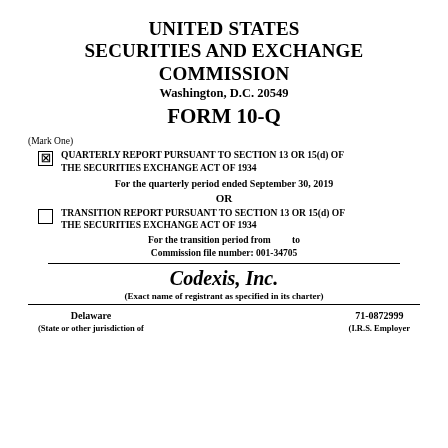UNITED STATES SECURITIES AND EXCHANGE COMMISSION
Washington, D.C. 20549
FORM 10-Q
(Mark One)
☒ QUARTERLY REPORT PURSUANT TO SECTION 13 OR 15(d) OF THE SECURITIES EXCHANGE ACT OF 1934
For the quarterly period ended September 30, 2019
OR
☐ TRANSITION REPORT PURSUANT TO SECTION 13 OR 15(d) OF THE SECURITIES EXCHANGE ACT OF 1934
For the transition period from      to
Commission file number: 001-34705
Codexis, Inc.
(Exact name of registrant as specified in its charter)
Delaware
71-0872999
(State or other jurisdiction of
(I.R.S. Employer